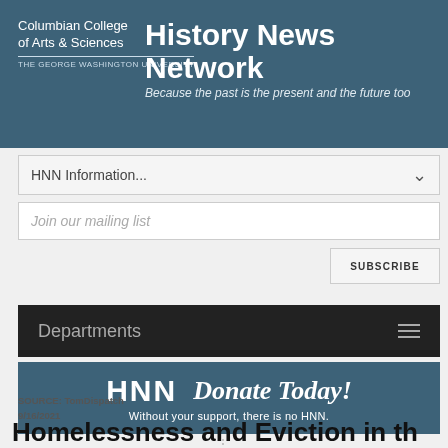Columbian College of Arts & Sciences THE GEORGE WASHINGTON UNIVERSITY | History News Network | Because the past is the present and the future too
HNN Information...
Join our mailing list
SUBSCRIBE
Departments
[Figure (logo): HNN Donate Today! Without your support, there is no HNN. Banner with HNN logo on blue-grey background.]
SOURCE: TomDispatch
9/16/2021
Homelessness and Eviction in th